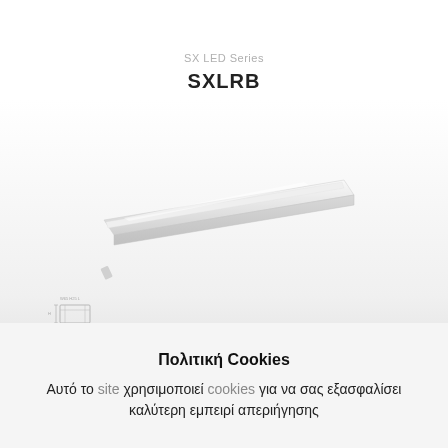SX LED Series
SXLRB
[Figure (photo): White elongated LED linear light fixture (SXLRB) shown at an angle on a light gray background, with a small technical cross-section diagram in the lower left showing dimensions.]
Πολιτική Cookies
Αυτό το site χρησιμοποιεί cookies για να σας εξασφαλίσει καλύτερη εμπειρί απεριήγησης